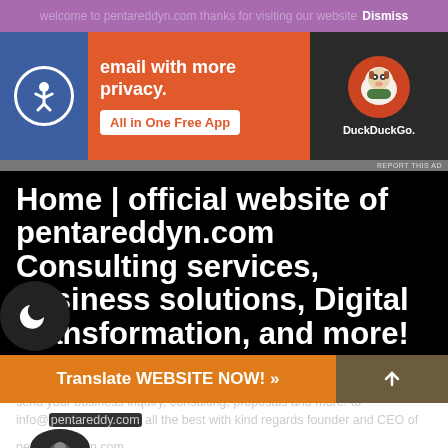welcome to pentareddyn.com thanks for visiting our website Dismiss
[Figure (screenshot): DuckDuckGo advertisement banner with orange background showing 'email with more privacy. All in One Free App' and DuckDuckGo logo with duck icon on dark background. Left side shows accessibility icon on blue background.]
Home | official website of pentareddyn.com Consulting services, business solutions, Digital Transformation, and more!
Designing inclusively makes better experiences for everyone Connect With Us | info@pentareddy.com | call today! Phone number: +919916015276 send your business inquiry, consulting, proposals and more! to info@pentareddy.com all the best with kind regards founder and CEO of pentareddyn.com
Translate WEBSITE NOW! »